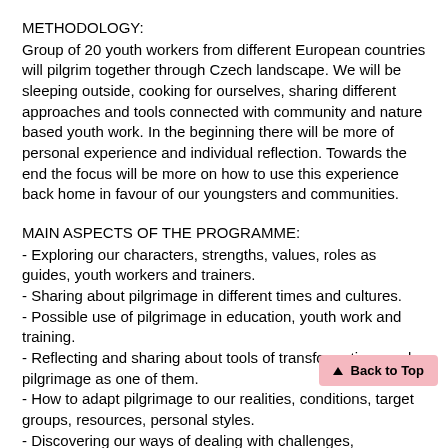METHODOLOGY:
Group of 20 youth workers from different European countries will pilgrim together through Czech landscape. We will be sleeping outside, cooking for ourselves, sharing different approaches and tools connected with community and nature based youth work. In the beginning there will be more of personal experience and individual reflection. Towards the end the focus will be more on how to use this experience back home in favour of our youngsters and communities.
MAIN ASPECTS OF THE PROGRAMME:
- Exploring our characters, strengths, values, roles as guides, youth workers and trainers.
- Sharing about pilgrimage in different times and cultures.
- Possible use of pilgrimage in education, youth work and training.
- Reflecting and sharing about tools of transformations and pilgrimage as one of them.
- How to adapt pilgrimage to our realities, conditions, target groups, resources, personal styles.
- Discovering our ways of dealing with challenges, understanding